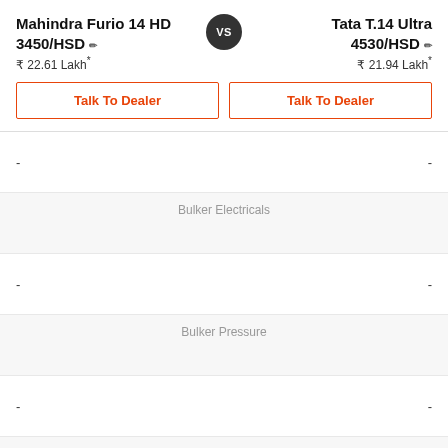Mahindra Furio 14 HD 3450/HSD
Tata T.14 Ultra 4530/HSD
₹ 22.61 Lakh*
₹ 21.94 Lakh*
Talk To Dealer
Talk To Dealer
Bulker Electricals
- (left) - (right)
Bulker Pressure
- (left) - (right)
Floor Material
- (left) - (right)
Side Board Material
- (left) - (right)
Rear Board Material
- (left) - (right)